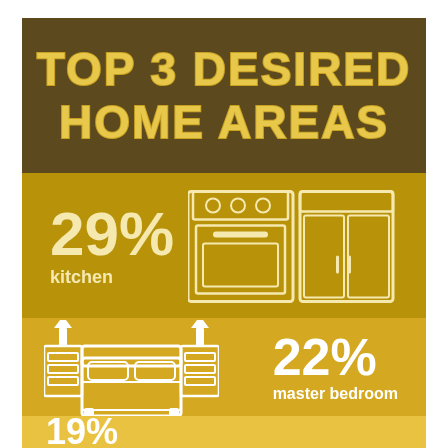TOP 3 DESIRED HOME AREAS
[Figure (infographic): Top 3 Desired Home Areas]
29% kitchen
22% master bedroom
19%